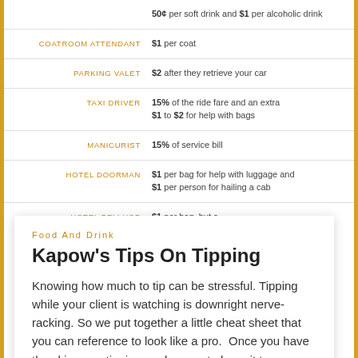| Role | Tip Amount |
| --- | --- |
|  | 50¢ per soft drink and $1 per alcoholic drink |
| COATROOM ATTENDANT | $1 per coat |
| PARKING VALET | $2 after they retrieve your car |
| TAXI DRIVER | 15% of the ride fare and an extra $1 to $2 for help with bags |
| MANICURIST | 15% of service bill |
| HOTEL DOORMAN | $1 per bag for help with luggage and $1 per person for hailing a cab |
| HOTEL BELLHOP | $1 per bag, but a |
Food And Drink
Kapow's Tips On Tipping
Knowing how much to tip can be stressful. Tipping while your client is watching is downright nerve-racking. So we put together a little cheat sheet that you can reference to look like a pro.  Once you have the skinny on tipping, make sure to keep it to yourself. Don't